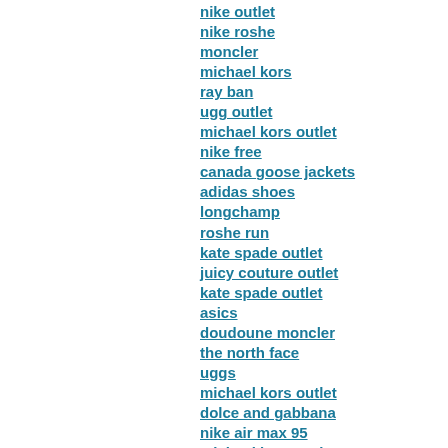nike outlet
nike roshe
moncler
michael kors
ray ban
ugg outlet
michael kors outlet
nike free
canada goose jackets
adidas shoes
longchamp
roshe run
kate spade outlet
juicy couture outlet
kate spade outlet
asics
doudoune moncler
the north face
uggs
michael kors outlet
dolce and gabbana
nike air max 95
michael kors outlet
tod's shoes
birkenstock outlet